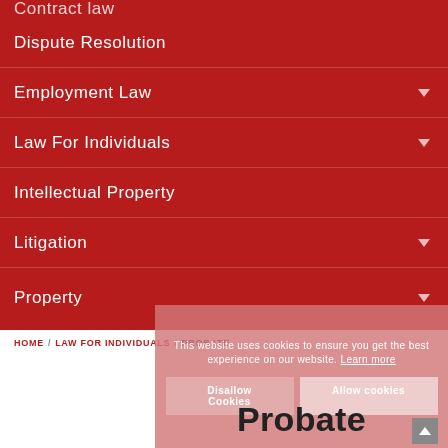Dispute Resolution
Employment Law
Law For Individuals
Intellectual Property
Litigation
Property
This website uses cookies to ensure you get the best experience on our website. Learn more
Disallow Cookies
Allow cookies
HOME / LAW FOR INDIVIDUALS / PROBATE
Probate